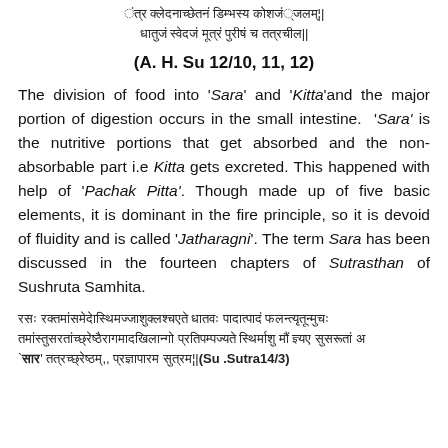[Sanskrit verse lines at top]
(A. H. Su 12/10, 11, 12)
The division of food into 'Sara' and 'Kitta'and the major portion of digestion occurs in the small intestine. 'Sara' is the nutritive portions that get absorbed and the non-absorbable part i.e Kitta gets excreted. This happened with help of 'Pachak Pitta'. Though made up of five basic elements, it is dominant in the fire principle, so it is devoid of fluidity and is called 'Jatharagni'. The term Sara has been discussed in the fourteen chapters of Sutrasthan of Sushruta Samhita.
[Sanskrit verse bottom] |(Su .Sutra14/3)